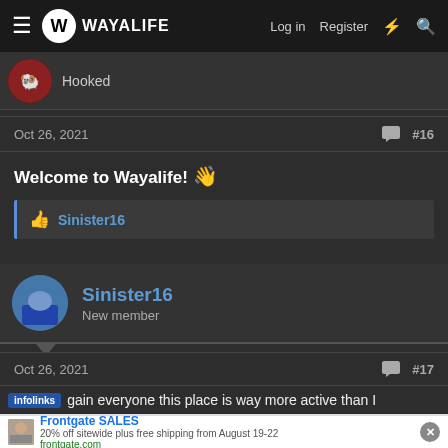WAYALIFE — Log in  Register
Hooked
Oct 26, 2021  #16
Welcome to Wayalife! 👋
👍 Sinister16
Sinister16
New member
Oct 26, 2021  #17
...gain everyone this place is way more active than I
Frontgate SALES — 20% off sitewide plus free shipping from August 19-22 — frontgate.com